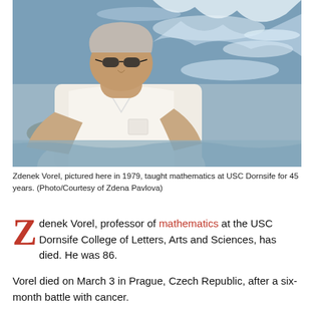[Figure (photo): Outdoor photograph of Zdenek Vorel standing near a rushing river, wearing a white polo shirt and aviator sunglasses, taken in 1979.]
Zdenek Vorel, pictured here in 1979, taught mathematics at USC Dornsife for 45 years. (Photo/Courtesy of Zdena Pavlova)
Zdenek Vorel, professor of mathematics at the USC Dornsife College of Letters, Arts and Sciences, has died. He was 86.
Vorel died on March 3 in Prague, Czech Republic, after a six-month battle with cancer.